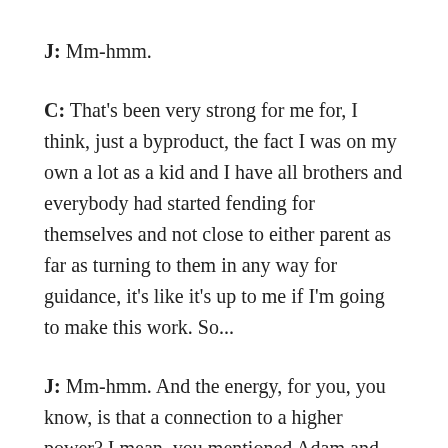J: Mm-hmm.
C: That's been very strong for me for, I think, just a byproduct, the fact I was on my own a lot as a kid and I have all brothers and everybody had started fending for themselves and not close to either parent as far as turning to them in any way for guidance, it's like it's up to me if I'm going to make this work. So...
J: Mm-hmm. And the energy, for you, you know, is that a connection to a higher power? I mean, you mentioned Adam and Eve, is that God? How do you